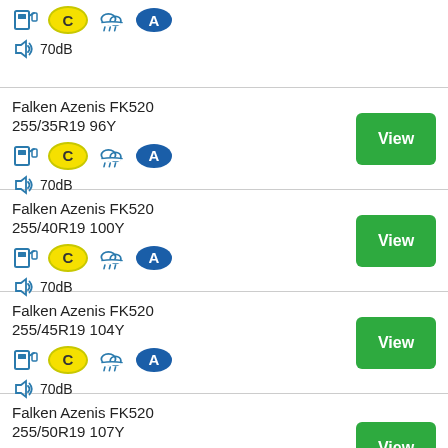70dB, C, A rating (partial card top)
Falken Azenis FK520 255/35R19 96Y, C, A, 70dB
Falken Azenis FK520 255/40R19 100Y, C, A, 70dB
Falken Azenis FK520 255/45R19 104Y, C, A, 70dB
Falken Azenis FK520 255/50R19 107Y (partial)